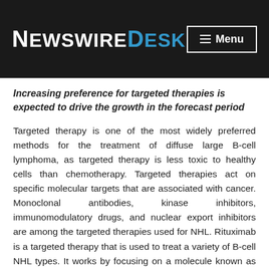NewswireDesk | Menu
Increasing preference for targeted therapies is expected to drive the growth in the forecast period
Targeted therapy is one of the most widely preferred methods for the treatment of diffuse large B-cell lymphoma, as targeted therapy is less toxic to healthy cells than chemotherapy. Targeted therapies act on specific molecular targets that are associated with cancer. Monoclonal antibodies, kinase inhibitors, immunomodulatory drugs, and nuclear export inhibitors are among the targeted therapies used for NHL. Rituximab is a targeted therapy that is used to treat a variety of B-cell NHL types. It works by focusing on a molecule known as CD20, which is found on the surface of both normal B